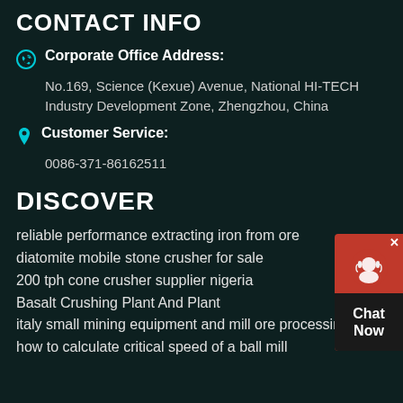CONTACT INFO
Corporate Office Address:
No.169, Science (Kexue) Avenue, National HI-TECH Industry Development Zone, Zhengzhou, China
Customer Service:
0086-371-86162511
DISCOVER
reliable performance extracting iron from ore
diatomite mobile stone crusher for sale
200 tph cone crusher supplier nigeria
Basalt Crushing Plant And Plant
italy small mining equipment and mill ore processing
how to calculate critical speed of a ball mill
[Figure (illustration): Red chat widget with headset icon and 'Chat Now' text label]